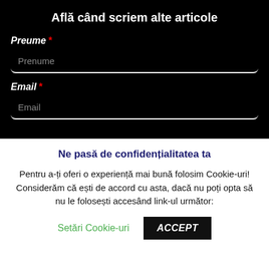Află când scriem alte articole
Prenume *
Prenume
Email *
Email
Ne pasă de confidențialitatea ta
Pentru a-ți oferi o experiență mai bună folosim Cookie-uri! Considerăm că ești de accord cu asta, dacă nu poți opta să nu le folosești accesând link-ul următor:
Setări Cookie-uri
ACCEPT